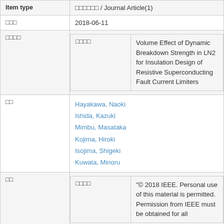| Item type | □□□□□□ / Journal Article(1) |
| □□□ | 2018-06-11 |
| □□□□ |  |
| □□□□ (nested) | Volume Effect of Dynamic Breakdown Strength in LN2 for Insulation Design of Resistive Superconducting Fault Current Limiters |
| □□ | Hayakawa, Naoki
Ishida, Kazuki
Mimbu, Masataka
Kojima, Hiroki
Isojima, Shigeki
Kuwata, Minoru |
| □□ |  |
| □□□□ (nested) | "© 2018 IEEE. Personal use of this material is permitted. Permission from IEEE must be obtained for all |